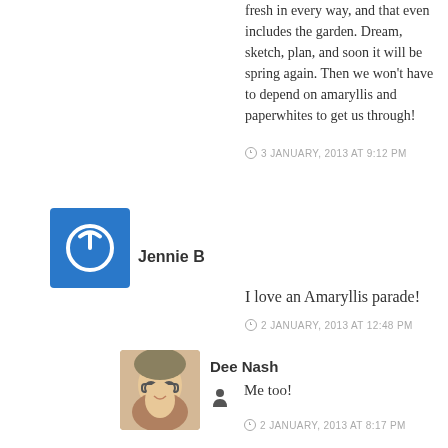fresh in every way, and that even includes the garden. Dream, sketch, plan, and soon it will be spring again. Then we won't have to depend on amaryllis and paperwhites to get us through!
3 JANUARY, 2013 AT 9:12 PM
Jennie B
I love an Amaryllis parade!
2 JANUARY, 2013 AT 12:48 PM
[Figure (photo): Photo avatar of Dee Nash, a woman with glasses and light hair]
Dee Nash
Me too!
2 JANUARY, 2013 AT 8:17 PM